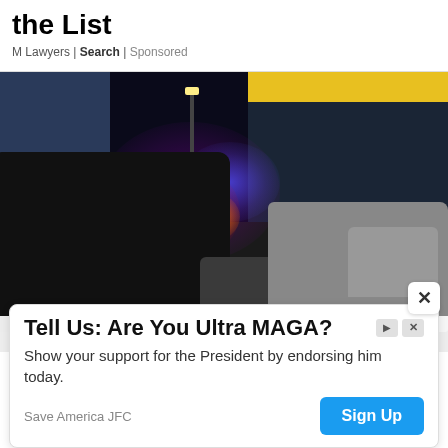the List
M Lawyers | Search | Sponsored
[Figure (photo): Nighttime street scene with police vehicles, red and blue emergency lights flashing, dark SUV in foreground, pickup truck on right, buildings on both sides of road.]
Suspect in custody in Thailand after...
Tell Us: Are You Ultra MAGA?
Show your support for the President by endorsing him today.
Save America JFC
Sign Up